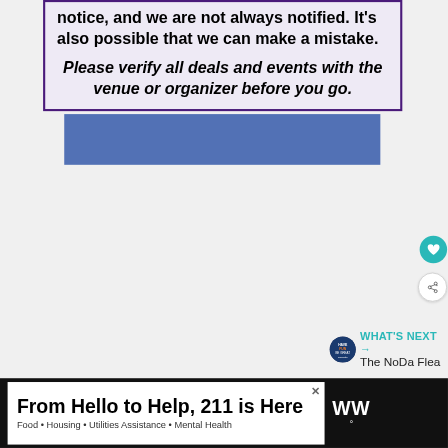notice, and we are not always notified. It's also possible that we can make a mistake.
Please verify all deals and events with the venue or organizer before you go.
[Figure (other): Blue rectangular banner/advertisement placeholder]
[Figure (other): Teal circular heart/favorite button icon]
[Figure (other): White circular share button icon]
[Figure (other): What's Next section with NoDa Flea logo and text]
From Hello to Help, 211 is Here
Food • Housing • Utilities Assistance • Mental Health